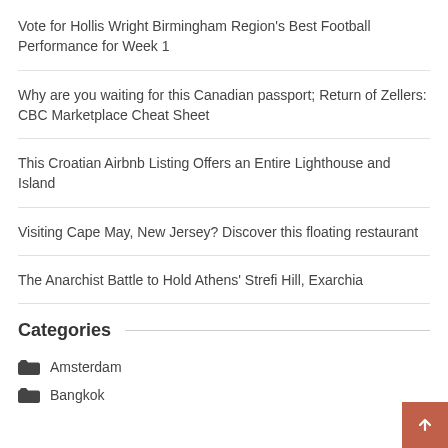Vote for Hollis Wright Birmingham Region's Best Football Performance for Week 1
Why are you waiting for this Canadian passport; Return of Zellers: CBC Marketplace Cheat Sheet
This Croatian Airbnb Listing Offers an Entire Lighthouse and Island
Visiting Cape May, New Jersey? Discover this floating restaurant
The Anarchist Battle to Hold Athens' Strefi Hill, Exarchia
Categories
Amsterdam
Bangkok